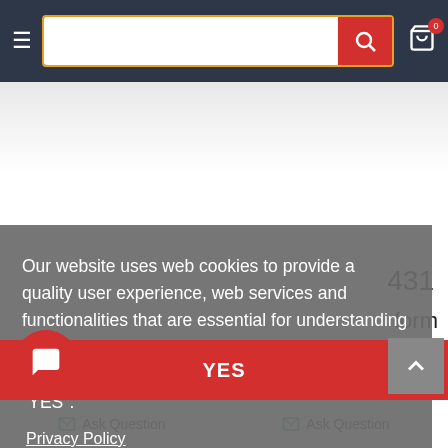[Figure (screenshot): Website navigation bar with hamburger menu, search bar with orange border and red search button, and shopping cart icon with badge showing 0]
Our website uses web cookies to provide a quality user experience, web services and functionalities that are essential for understanding consumer habits. Please confirm your consent to the use of cookies on our pages by clicking "YES".
Privacy Policy
YES
431
form
Ask Question
Ask Question